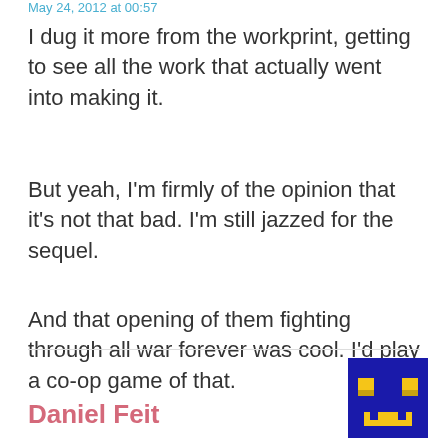May 24, 2012 at 00:57
I dug it more from the workprint, getting to see all the work that actually went into making it.
But yeah, I'm firmly of the opinion that it's not that bad. I'm still jazzed for the sequel.
And that opening of them fighting through all war forever was cool. I'd play a co-op game of that.
Daniel Feit